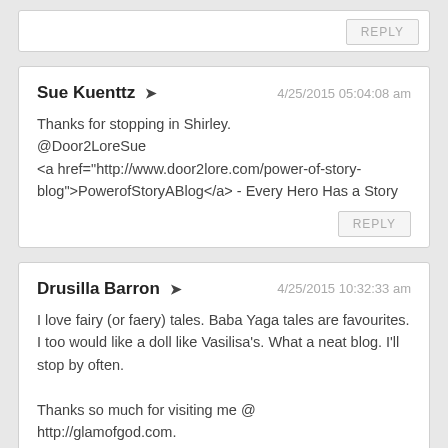Sue Kuenttz → 4/25/2015 05:04:08 am
Thanks for stopping in Shirley.
@Door2LoreSue
<a href="http://www.door2lore.com/power-of-story-blog">PowerofStoryABlog</a> - Every Hero Has a Story
Drusilla Barron → 4/25/2015 10:32:33 am
I love fairy (or faery) tales. Baba Yaga tales are favourites. I too would like a doll like Vasilisa's. What a neat blog. I'll stop by often.

Thanks so much for visiting me @ http://glamofgod.com.